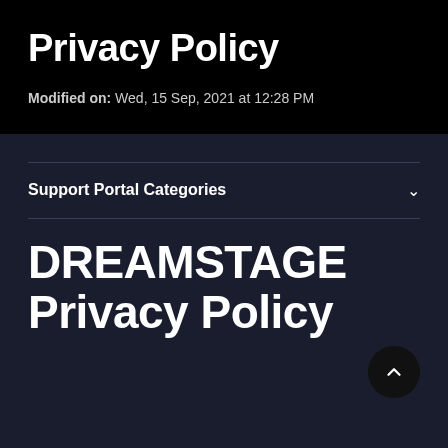Privacy Policy
Modified on: Wed, 15 Sep, 2021 at 12:28 PM
Support Portal Categories
DREAMSTAGE Privacy Policy